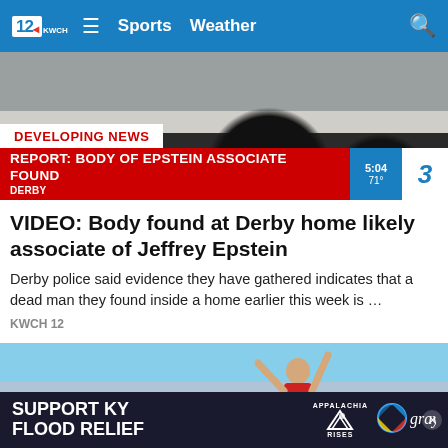12 KWCH  ≡  Sports  Weather  🔍
[Figure (screenshot): News broadcast screenshot showing underside of a dark vehicle with 'DEVELOPING NEWS: REPORT: BODY OF EPSTEIN ASSOCIATE FOUND' lower-third graphic. DERBY. Time: 5:04, 71°. Channel 3 logo.]
VIDEO: Body found at Derby home likely associate of Jeffrey Epstein
Derby police said evidence they have gathered indicates that a dead man they found inside a home earlier this week is …
KWCH 12
[Figure (photo): Person in red shirt reaching up to work on exterior of a house, on a ladder, sunny day.]
SUPPORT KY FLOOD RELIEF   APPALACHIA RISES   gray